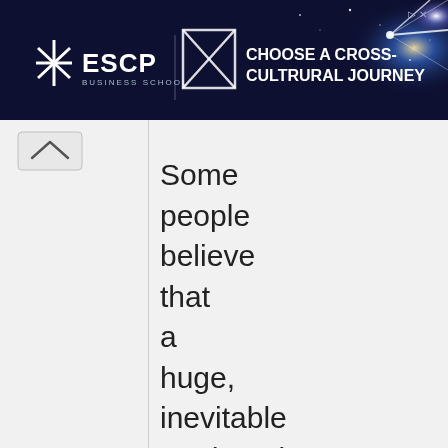[Figure (screenshot): ESCP Business School advertisement banner with dark space background and starburst light effect. Text reads 'ESCP BUSINESS SCHOOL' logo on left and 'CHOOSE A CROSS-CULTRURAL JOURNEY' on right.]
Some people believe that a huge, inevitable earthquake will result in the splitting